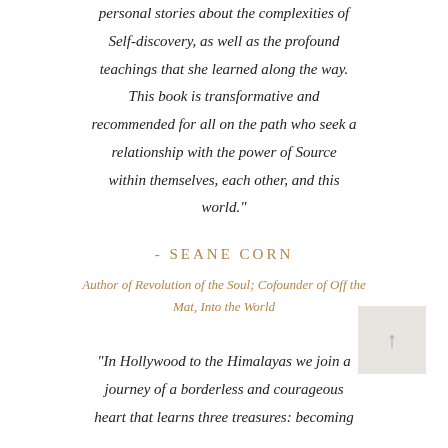personal stories about the complexities of Self-discovery, as well as the profound teachings that she learned along the way. This book is transformative and recommended for all on the path who seek a relationship with the power of Source within themselves, each other, and this world."
- SEANE CORN
Author of Revolution of the Soul; Cofounder of Off the Mat, Into the World
"In Hollywood to the Himalayas we join a journey of a borderless and courageous heart that learns three treasures: becoming